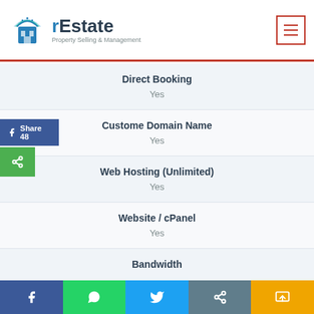[Figure (logo): rEstate Property Selling & Management logo with headphone/building icon in blue]
Direct Booking
Yes
Custome Domain Name
Yes
Web Hosting (Unlimited)
Yes
Website / cPanel
Yes
Bandwidth